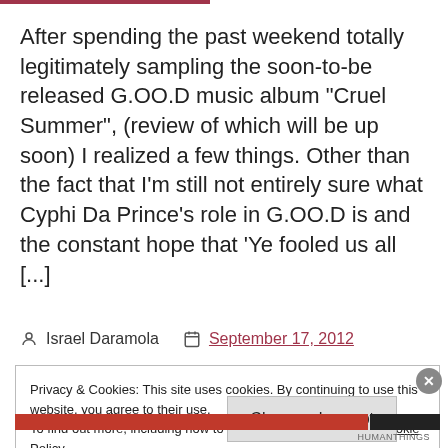After spending the past weekend totally legitimately sampling the soon-to-be released G.OO.D music album “Cruel Summer”, (review of which will be up soon) I realized a few things. Other than the fact that I’m still not entirely sure what Cyphi Da Prince’s role in G.OO.D is and the constant hope that ‘Ye fooled us all [...]
Israel Daramola   September 17, 2012
Privacy & Cookies: This site uses cookies. By continuing to use this website, you agree to their use.
To find out more, including how to control cookies, see here: Cookie Policy
Close and accept